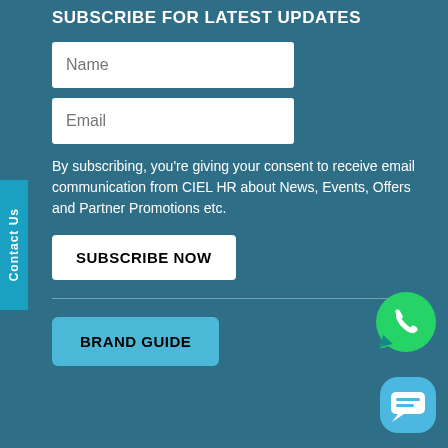SUBSCRIBE FOR LATEST UPDATES
Name
Email
By subscribing, you're giving your consent to receive email communication from CIEL HR about News, Events, Offers and Partner Promotions etc.
SUBSCRIBE NOW
BRAND GUIDE
[Figure (logo): WhatsApp icon - green circular logo with phone handset]
[Figure (logo): Chat bubble icon - blue rounded square with speech bubble]